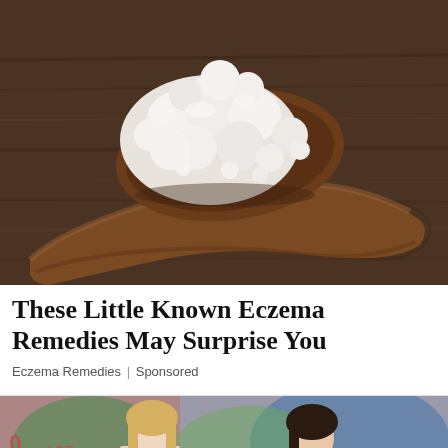[Figure (photo): A wooden spoon holding white cottage cheese or kefir grains on a rustic dark wood surface background.]
These Little Known Eczema Remedies May Surprise You
Eczema Remedies | Sponsored
[Figure (photo): Two young women standing in front of a colorful graffiti wall. One has blonde hair and holds something red, the other has dark hair.]